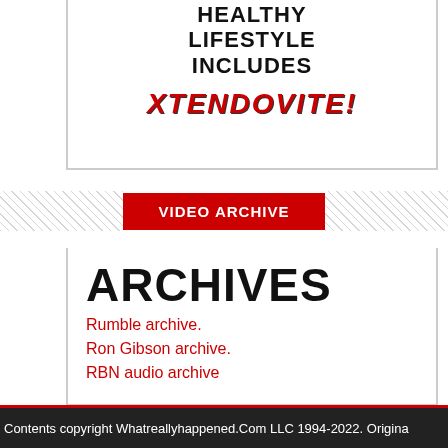HEALTHY LIFESTYLE INCLUDES
XTENDOVITE!
VIDEO ARCHIVE
ARCHIVES
Rumble archive.
Ron Gibson archive.
RBN audio archive
Contents copyright Whatreallyhappened.Com LLC 1994-2022. Origina